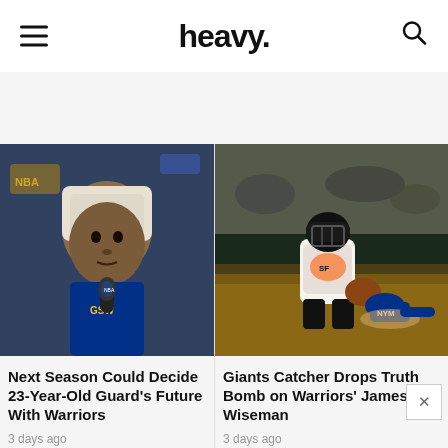heavy.
[Figure (photo): NBA player at press conference with towel over head and microphone in front, Warriors backdrop visible]
Next Season Could Decide 23-Year-Old Guard's Future With Warriors
3 days ago
[Figure (photo): Baseball catcher in Giants uniform crouching, tagging out a Mets player sliding into base]
Giants Catcher Drops Truth Bomb on Warriors' James Wiseman
3 days ago